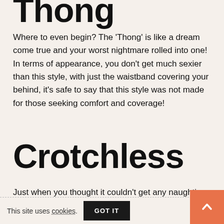Thong
Where to even begin? The 'Thong' is like a dream come true and your worst nightmare rolled into one! In terms of appearance, you don't get much sexier than this style, with just the waistband covering your behind, it's safe to say that this style was not made for those seeking comfort and coverage!
Crotchless
Just when you thought it couldn't get any naughtier, crotchless panties have entered the chat! Granted can come crotchle ant to be saved for that